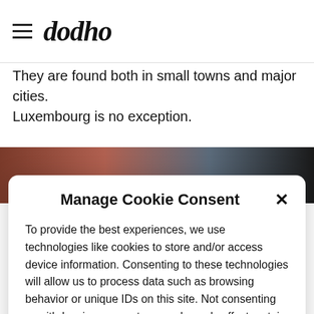[Figure (logo): Dodho website header with hamburger menu icon and handwritten-style 'dodho' logo]
They are found both in small towns and major cities. Luxembourg is no exception.
[Figure (photo): Dark photograph strip showing blurred close-up image with brown and black tones]
Manage Cookie Consent
To provide the best experiences, we use technologies like cookies to store and/or access device information. Consenting to these technologies will allow us to process data such as browsing behavior or unique IDs on this site. Not consenting or withdrawing consent, may adversely affect certain features and functions. More Info
Accept